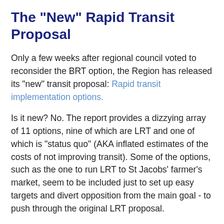The "New" Rapid Transit Proposal
Only a few weeks after regional council voted to reconsider the BRT option, the Region has released its "new" transit proposal: Rapid transit implementation options.
Is it new? No. The report provides a dizzying array of 11 options, nine of which are LRT and one of which is "status quo" (AKA inflated estimates of the costs of not improving transit). Some of the options, such as the one to run LRT to St Jacobs' farmer's market, seem to be included just to set up easy targets and divert opposition from the main goal - to push through the original LRT proposal.
The report also sets up dates for new public consultation. If I had any expectation that the consultation would be any more honest than last time, when the region spent a fortune disguising a PR campaign as public consultation, I would make an effort to publicize these. As it is, what's the point.
But that, of course, is just the goal of this latest salvo in the